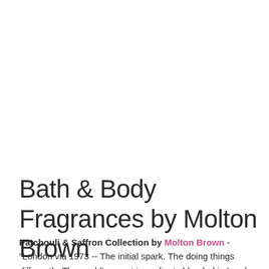Bath & Body Fragrances by Molton Brown
Patchouli & Saffron Collection by Molton Brown - "London via 1973 -- The initial spark. The doing things differently. The world's rarest ingredients blended in London